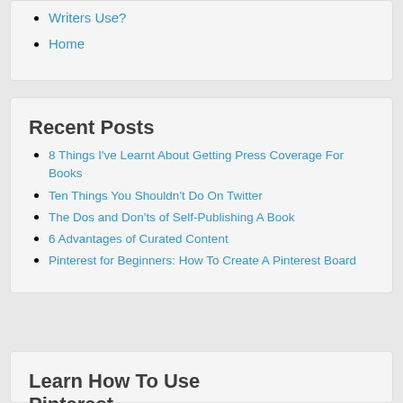Writers Use?
Home
Recent Posts
8 Things I've Learnt About Getting Press Coverage For Books
Ten Things You Shouldn't Do On Twitter
The Dos and Don'ts of Self-Publishing A Book
6 Advantages of Curated Content
Pinterest for Beginners: How To Create A Pinterest Board
Learn How To Use Pinterest